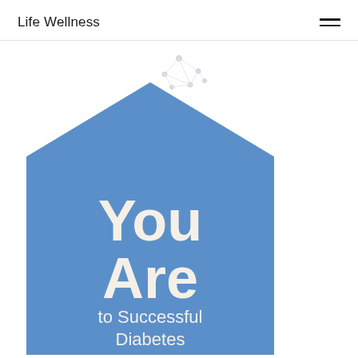Life Wellness
[Figure (infographic): A blue house/pentagon shape containing bold white/cream text reading 'You Are Central to Successful Diabetes' with a geometric network illustration at the top]
You Are Central to Successful Diabetes